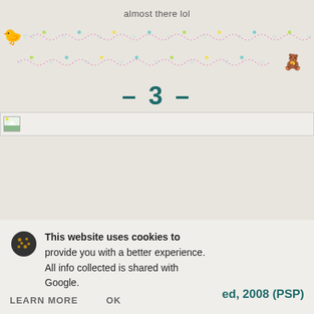almost there lol
[Figure (illustration): Decorative pixel-art divider line with pink dotted wave pattern, small colored dots (blue hearts, green, yellow), and a yellow pixel duck on the left end]
[Figure (illustration): Second decorative pixel-art divider line with pink dotted wave pattern and a pixel-art cat/fairy character on the right end]
– 3 –
[Figure (photo): Broken image placeholder icon showing a small landscape thumbnail that failed to load, spanning full page width]
This website uses cookies to provide you with a better experience. All info collected is shared with Google.
LEARN MORE   OK
ed, 2008 (PSP)